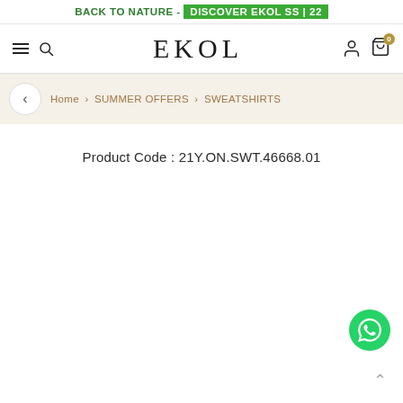BACK TO NATURE - DISCOVER EKOL SS | 22
EKOL
Home > SUMMER OFFERS > SWEATSHIRTS
Product Code : 21Y.ON.SWT.46668.01